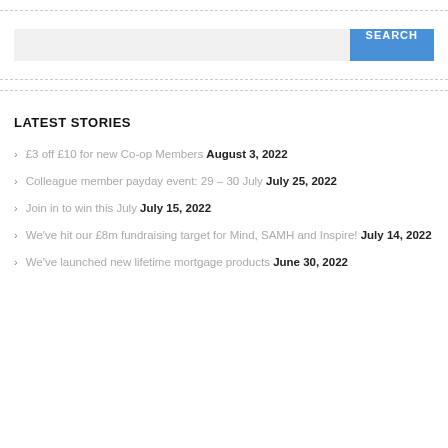[Figure (screenshot): Search bar with grey input field and blue SEARCH button]
LATEST STORIES
£3 off £10 for new Co-op Members August 3, 2022
Colleague member payday event: 29 – 30 July July 25, 2022
Join in to win this July July 15, 2022
We've hit our £8m fundraising target for Mind, SAMH and Inspire! July 14, 2022
We've launched new lifetime mortgage products June 30, 2022